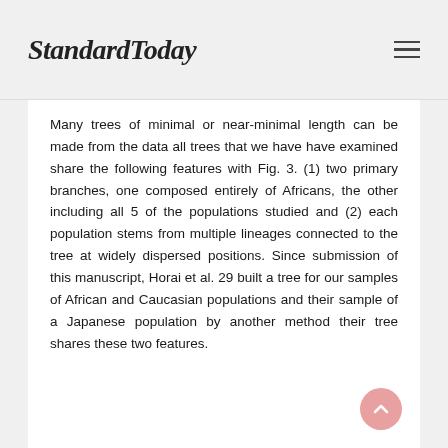StandardToday
Many trees of minimal or near-minimal length can be made from the data all trees that we have have examined share the following features with Fig. 3. (1) two primary branches, one composed entirely of Africans, the other including all 5 of the populations studied and (2) each population stems from multiple lineages connected to the tree at widely dispersed positions. Since submission of this manuscript, Horai et al. 29 built a tree for our samples of African and Caucasian populations and their sample of a Japanese population by another method their tree shares these two features.